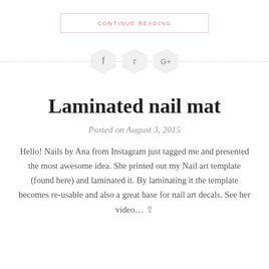CONTINUE READING
[Figure (infographic): Social share icons for Facebook, Twitter, and Google+ arranged horizontally with a dotted line on either side]
Laminated nail mat
Posted on August 3, 2015
Hello! Nails by Ana from Instagram just tagged me and presented the most awesome idea. She printed out my Nail art template (found here) and laminated it. By laminating it the template becomes re-usable and also a great base for nail art decals. See her video…